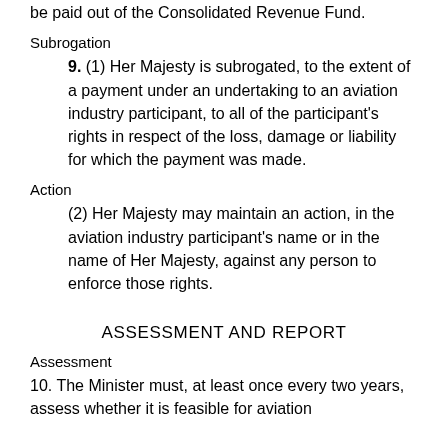be paid out of the Consolidated Revenue Fund.
Subrogation
9. (1) Her Majesty is subrogated, to the extent of a payment under an undertaking to an aviation industry participant, to all of the participant's rights in respect of the loss, damage or liability for which the payment was made.
Action
(2) Her Majesty may maintain an action, in the aviation industry participant's name or in the name of Her Majesty, against any person to enforce those rights.
ASSESSMENT AND REPORT
Assessment
10. The Minister must, at least once every two years, assess whether it is feasible for aviation